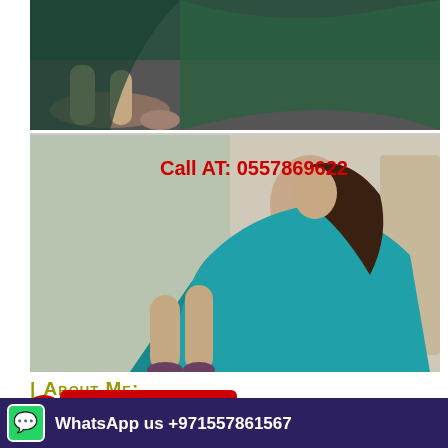[Figure (photo): Top photo showing a person in green clothing lying/posing, with visible legs and feet against a dark background]
[Figure (photo): Bottom photo of a woman in a teal/turquoise dress reclining, with text overlay 'Call AT: 0557869622' in red]
| ABOUT ME:
female from
Independent Call girls in Al Ain (0557869622) Indian Escorts in Al AIn Call: 0557869622 My
rl. I'm
Al Ain
[Figure (infographic): Red Call Now badge with phone icon showing +971557861567]
[Figure (infographic): Dark purple WhatsApp bar at bottom: WhatsApp us +971557861567]